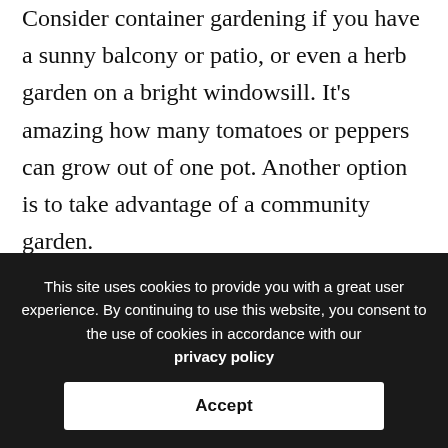Consider container gardening if you have a sunny balcony or patio, or even a herb garden on a bright windowsill. It's amazing how many tomatoes or peppers can grow out of one pot. Another option is to take advantage of a community garden.
Starting a small co-op with neighbours and friends is both cost effective and a great way to involve everyone. Some people have yards ideal for full sun, high heat crops, while others can grow cool crops...
This site uses cookies to provide you with a great user experience. By continuing to use this website, you consent to the use of cookies in accordance with our privacy policy
Accept